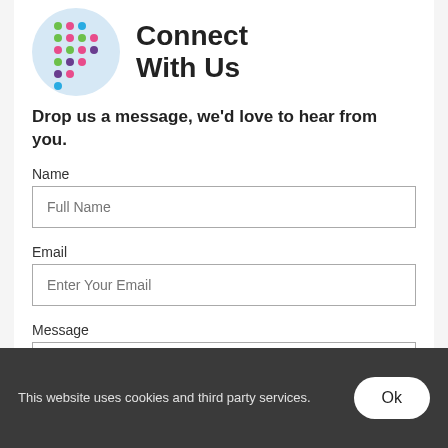[Figure (logo): Colorful dot-grid logo inside a light blue circle, resembling a stylized 'f' or arrow shape made of colored dots (green, pink, blue, purple)]
Connect With Us
Drop us a message, we'd love to hear from you.
Name
Full Name
Email
Enter Your Email
Message
Your Message
This website uses cookies and third party services.